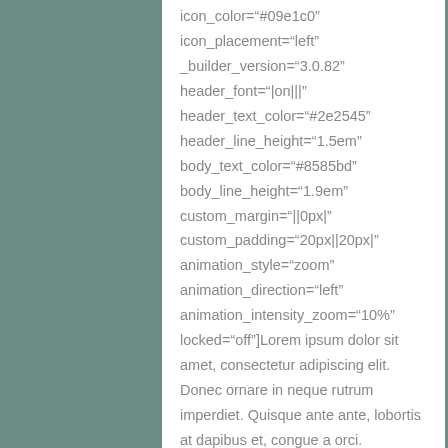icon_color="#09e1c0" icon_placement="left" _builder_version="3.0.82" header_font="|on|||" header_text_color="#2e2545" header_line_height="1.5em" body_text_color="#8585bd" body_line_height="1.9em" custom_margin="||0px|" custom_padding="20px||20px|" animation_style="zoom" animation_direction="left" animation_intensity_zoom="10%" locked="off"]Lorem ipsum dolor sit amet, consectetur adipiscing elit. Donec ornare in neque rutrum imperdiet. Quisque ante ante, lobortis at dapibus et, congue a orci. [/et_pb_blurb][/et_pb_column]